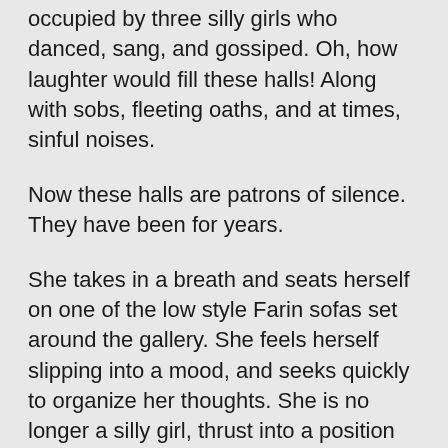occupied by three silly girls who danced, sang, and gossiped. Oh, how laughter would fill these halls! Along with sobs, fleeting oaths, and at times, sinful noises.
Now these halls are patrons of silence. They have been for years.
She takes in a breath and seats herself on one of the low style Farin sofas set around the gallery. She feels herself slipping into a mood, and seeks quickly to organize her thoughts. She is no longer a silly girl, thrust into a position she is unprepared for. She has lost too much for such a luxury.
She will have to speak with Vlara, learn the names...